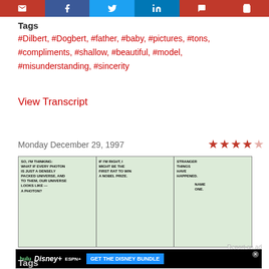[Figure (other): Social media sharing buttons: email (red), Facebook (blue), Twitter (blue), LinkedIn (blue), comment (red), cart (red)]
Tags
#Dilbert, #Dogbert, #father, #baby, #pictures, #tons, #compliments, #shallow, #beautiful, #model, #misunderstanding, #sincerity
View Transcript
Monday December 29, 1997
[Figure (illustration): Dilbert comic strip from December 29, 1997. Panel 1: character says 'SO, I'M THINKING: WHAT IF EVERY PHOTON IS JUST A DENSELY PACKED UNIVERSE, AND TO THEM, OUR UNIVERSE LOOKS LIKE A PHOTON?' Panel 2: 'IF I'M RIGHT, I MIGHT BE THE FIRST RAT TO WIN A NOBEL PRIZE.' Panel 3: Speech bubble says 'STRANGER THINGS HAVE HAPPENED.' Response: 'NAME ONE.']
[Figure (screenshot): Advertisement: GET THE DISNEY BUNDLE with Hulu, Disney+, ESPN+. Fine print: Incl. Hulu (ad-supported) or Hulu (No Ads). Access content from each service separately. ©2021 Disney and its related entities.]
Tags